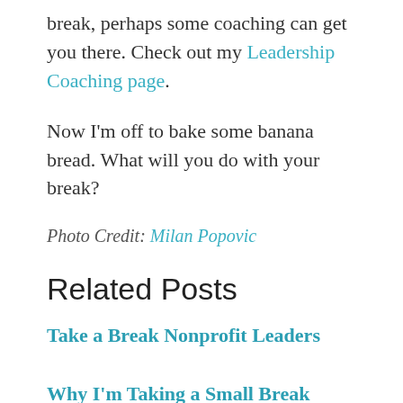break, perhaps some coaching can get you there. Check out my Leadership Coaching page.
Now I'm off to bake some banana bread. What will you do with your break?
Photo Credit: Milan Popovic
Related Posts
Take a Break Nonprofit Leaders
Why I'm Taking a Small Break From The Blog